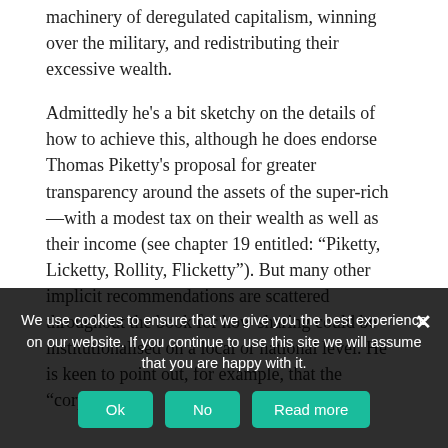machinery of deregulated capitalism, winning over the military, and redistributing their excessive wealth.
Admittedly he's a bit sketchy on the details of how to achieve this, although he does endorse Thomas Piketty's proposal for greater transparency around the assets of the super-rich—with a modest tax on their wealth as well as their income (see chapter 19 entitled: “Piketty, Licketty, Rollity, Flicketty”). But many other implicit recommendations are scattered throughout the book for how sharing could be institutionalised on a local or national level. He is keen to point out, for example, that the “corporate
We use cookies to ensure that we give you the best experience on our website. If you continue to use this site we will assume that you are happy with it.